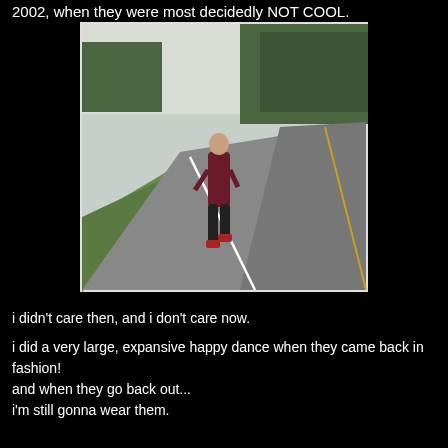2002, when they were most decidedly NOT COOL.
[Figure (photo): A person in a maroon top and black pants running on a road, with trees and grass visible in the background. The photo is slightly tilted.]
i didn't care then, and i don't care now.

i did a very large, expansive happy dance when they came back in fashion!
and when they go back out...
i'm still gonna wear them.